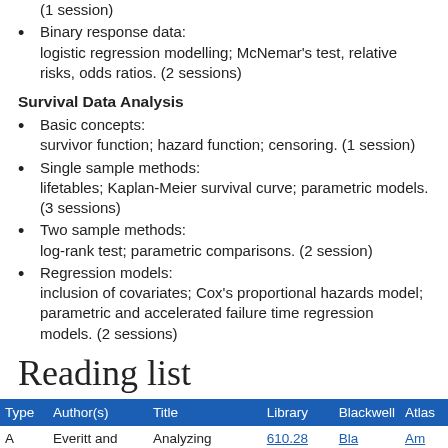(1 session)
Binary response data: logistic regression modelling; McNemar's test, relative risks, odds ratios. (2 sessions)
Survival Data Analysis
Basic concepts: survivor function; hazard function; censoring. (1 session)
Single sample methods: lifetables; Kaplan-Meier survival curve; parametric models. (3 sessions)
Two sample methods: log-rank test; parametric comparisons. (2 session)
Regression models: inclusion of covariates; Cox's proportional hazards model; parametric and accelerated failure time regression models. (2 sessions)
Reading list
| Type | Author(s) | Title | Library | Blackwell | Atlas |
| --- | --- | --- | --- | --- | --- |
| A | Everitt and | Analyzing Medical Data | 610.28 | Bla | Am |